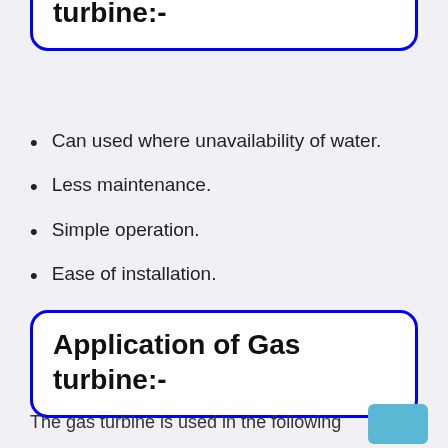turbine:-
Can used where unavailability of water.
Less maintenance.
Simple operation.
Ease of installation.
Application of Gas turbine:-
The gas turbine is used in the following